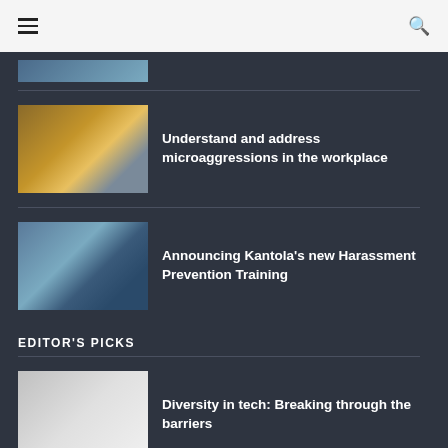Navigation menu and search icon
[Figure (photo): Partial thumbnail of a previous article, cropped at top]
[Figure (photo): Woman in yellow shirt sitting at desk with laptop, looking serious]
Understand and address microaggressions in the workplace
[Figure (photo): Two people near a car outside with airplane in background]
Announcing Kantola's new Harassment Prevention Training
EDITOR'S PICKS
[Figure (photo): Light-colored image, partially visible]
Diversity in tech: Breaking through the barriers